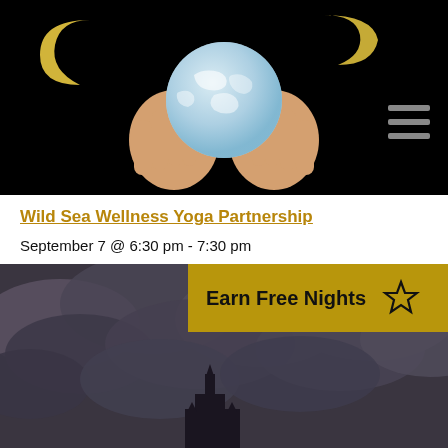[Figure (illustration): Black background illustration showing a figure with yellow/blonde hair and a crescent moon on the left, holding a light blue globe/Earth with both hands. A hamburger menu icon is visible in the bottom right area of the image.]
Wild Sea Wellness Yoga Partnership
September 7 @ 6:30 pm - 7:30 pm
[Figure (photo): Dark moody photograph of storm clouds with a silhouette of a castle or cathedral spire visible below. Overlaid with a gold/tan banner reading 'Earn Free Nights' with a star outline icon.]